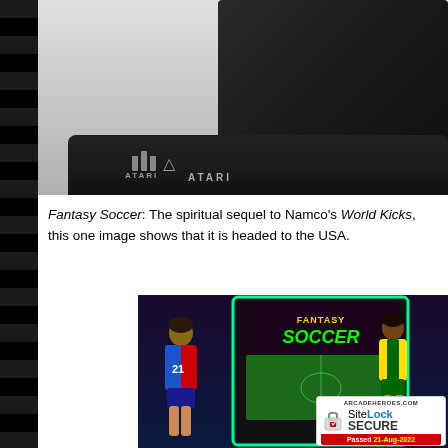[Figure (photo): Atari device/console on a dark base with Atari logo, blue accent base, partial view of a second unit on right edge]
Fantasy Soccer: The spiritual sequel to Namco's World Kicks, this one image shows that it is headed to the USA.
[Figure (photo): Fantasy Soccer arcade cabinet with colorful artwork showing soccer players, and a SiteLock SECURE badge (Passed 21-Aug-2022) overlaid in the bottom right]